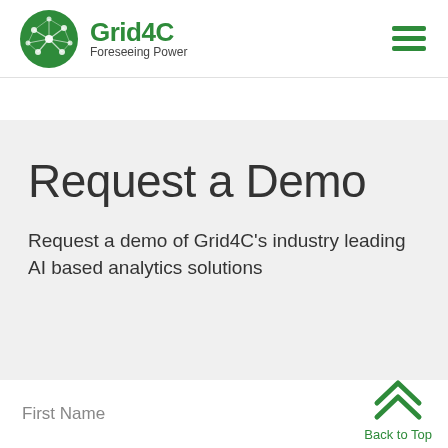[Figure (logo): Grid4C logo: green oval with network/node graphic, company name 'Grid4C' in green bold text, tagline 'Foreseeing Power' below]
[Figure (other): Hamburger menu icon with three green horizontal lines]
Request a Demo
Request a demo of Grid4C’s industry leading AI based analytics solutions
First Name
[Figure (other): Back to Top button with green double chevron up arrow and 'Back to Top' text in green]